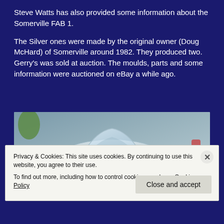Steve Watts has also provided some information about the Somerville FAB 1.
The Silver ones were made by the original owner (Doug McHard) of Somerville around 1982. They produced two. Gerry's was sold at auction. The moulds, parts and some information were auctioned on eBay a while ago.
[Figure (photo): Close-up photo of a silver Somerville FAB 1 model car, showing the transparent canopy and interior detail.]
Privacy & Cookies: This site uses cookies. By continuing to use this website, you agree to their use.
To find out more, including how to control cookies, see here: Cookie Policy
Close and accept